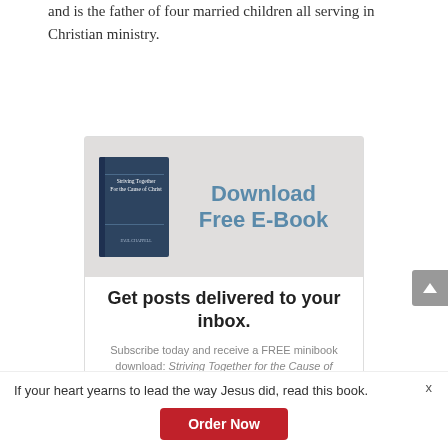and is the father of four married children all serving in Christian ministry.
[Figure (illustration): Advertisement banner showing a book cover for 'Striving Together For the Cause of Christ' by Paul Chappell with text 'Download Free E-Book']
Get posts delivered to your inbox.
Subscribe today and receive a FREE minibook download: Striving Together for the Cause of
If your heart yearns to lead the way Jesus did, read this book.
Order Now